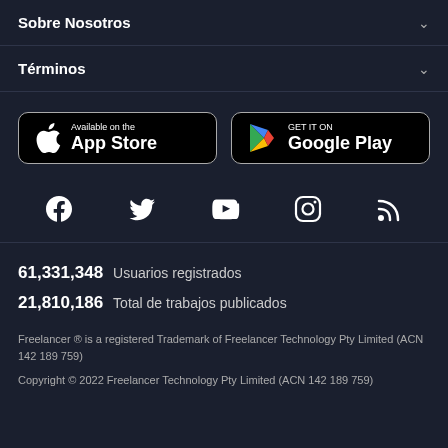Sobre Nosotros
Términos
[Figure (screenshot): App Store and Google Play download buttons]
[Figure (infographic): Social media icons: Facebook, Twitter, YouTube, Instagram, RSS]
61,331,348  Usuarios registrados
21,810,186  Total de trabajos publicados
Freelancer ® is a registered Trademark of Freelancer Technology Pty Limited (ACN 142 189 759)
Copyright © 2022 Freelancer Technology Pty Limited (ACN 142 189 759)